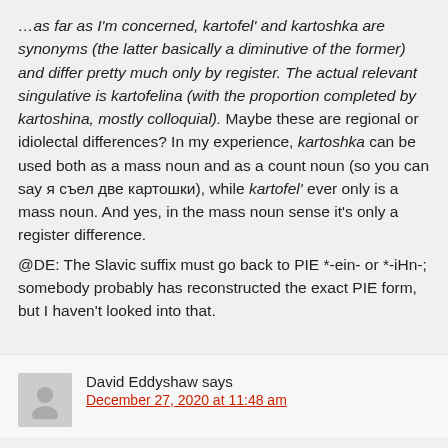…as far as I'm concerned, kartofel' and kartoshka are synonyms (the latter basically a diminutive of the former) and differ pretty much only by register. The actual relevant singulative is kartofelina (with the proportion completed by kartoshina, mostly colloquial). Maybe these are regional or idiolectal differences? In my experience, kartoshka can be used both as a mass noun and as a count noun (so you can say я съел две картошки), while kartofel' ever only is a mass noun. And yes, in the mass noun sense it's only a register difference.
@DE: The Slavic suffix must go back to PIE *-ein- or *-iHn-; somebody probably has reconstructed the exact PIE form, but I haven't looked into that.
David Eddyshaw says
December 27, 2020 at 11:48 am